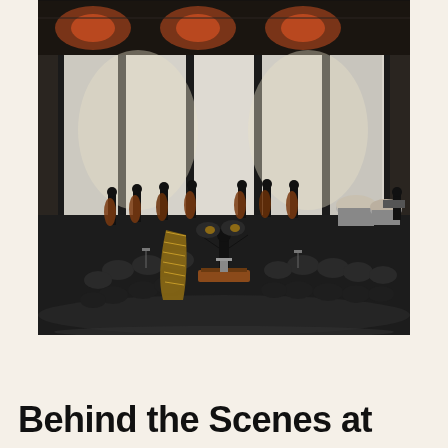[Figure (photo): Orchestra performing on a concert hall stage. A conductor stands on a podium in the center foreground with their back to the viewer, arms raised. Musicians are arranged in a semicircle around the conductor playing strings, brass, woodwinds, harp, and percussion. The stage has large white acoustic panels and black curtains. The ceiling has warm orange/red lighting visible above the panels.]
Behind the Scenes at